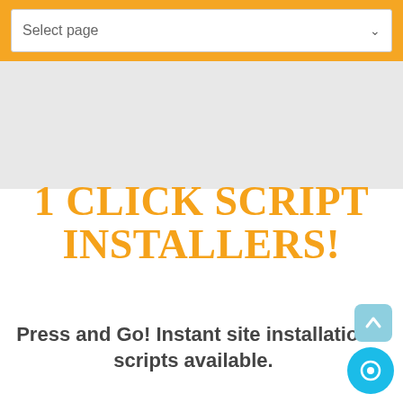[Figure (screenshot): Orange navigation bar with a white dropdown selector labeled 'Select page' with a chevron arrow, followed by a gray placeholder area]
1 CLICK SCRIPT INSTALLERS!
Press and Go! Instant site installation scripts available.